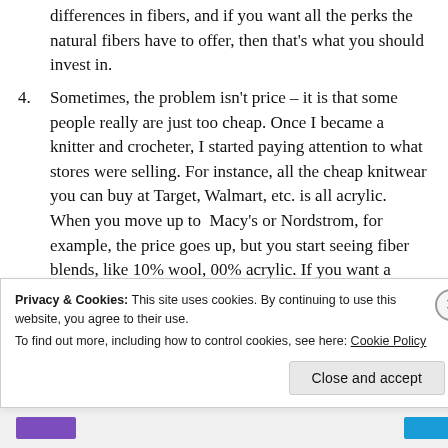differences in fibers, and if you want all the perks the natural fibers have to offer, then that's what you should invest in.
4. Sometimes, the problem isn't price – it is that some people really are just too cheap. Once I became a knitter and crocheter, I started paying attention to what stores were selling. For instance, all the cheap knitwear you can buy at Target, Walmart, etc. is all acrylic. When you move up to Macy's or Nordstrom, for example, the price goes up, but you start seeing fiber blends, like 10% wool, 00% acrylic. If you want a sweater made of
Privacy & Cookies: This site uses cookies. By continuing to use this website, you agree to their use. To find out more, including how to control cookies, see here: Cookie Policy